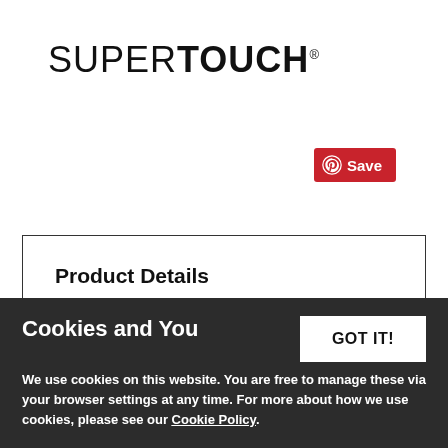[Figure (logo): SUPERTOUCH brand logo in black text, SUPER in regular weight, TOUCH in bold weight, with registered trademark symbol]
[Figure (other): Pinterest Save button in red with Pinterest circle icon and Save text in white]
Product Details
Customer Reviews (1)
D. Oliver...
Cookies and You
We use cookies on this website. You are free to manage these via your browser settings at any time. For more about how we use cookies, please see our Cookie Policy.
GOT IT!